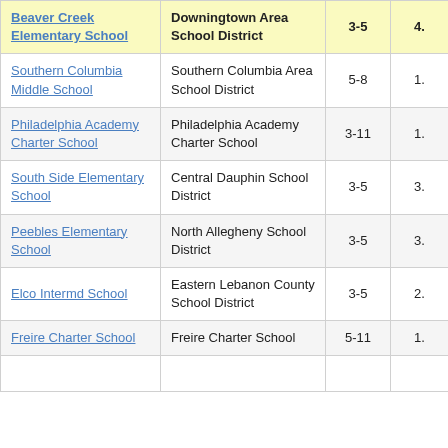| School | District | Grades |  |
| --- | --- | --- | --- |
| Beaver Creek Elementary School | Downingtown Area School District | 3-5 | 4. |
| Southern Columbia Middle School | Southern Columbia Area School District | 5-8 | 1. |
| Philadelphia Academy Charter School | Philadelphia Academy Charter School | 3-11 | 1. |
| South Side Elementary School | Central Dauphin School District | 3-5 | 3. |
| Peebles Elementary School | North Allegheny School District | 3-5 | 3. |
| Elco Intermd School | Eastern Lebanon County School District | 3-5 | 2. |
| Freire Charter School | Freire Charter School | 5-11 | 1. |